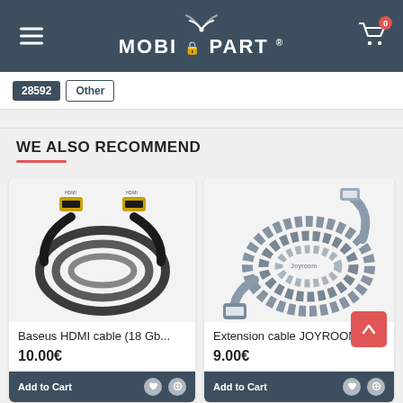[Figure (screenshot): MobiPart e-commerce website header with hamburger menu, logo, and cart icon]
28592   Other
WE ALSO RECOMMEND
[Figure (photo): Baseus HDMI cable (18 Gb...) product photo showing black HDMI cable coiled]
Baseus HDMI cable (18 Gb...
10.00€
Add to Cart
[Figure (photo): Extension cable JOYROOM... product photo showing grey braided USB extension cable coiled]
Extension cable JOYROOM...
9.00€
Add to Cart